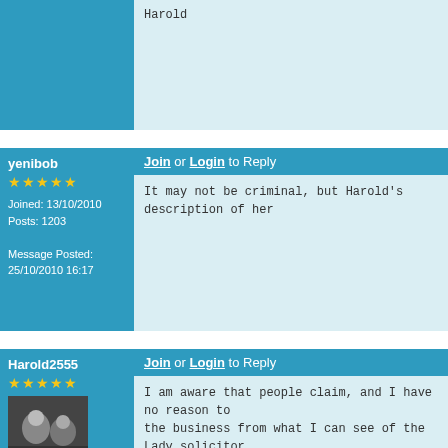Harold
Join or Login to Reply
yenibob
Joined: 13/10/2010 Posts: 1203 Message Posted: 25/10/2010 16:17
It may not be criminal, but Harold's description of her
Join or Login to Reply
Harold2555
Forum Admin Joined: 19/04/2008 Posts: 1139 Message Posted:
I am aware that people claim, and I have no reason to the business from what I can see of the Lady solicitor
I don't know the state of her involvement with this com account from the UK Troy Lake company, no activities discipline from the appropriate UK regulators.